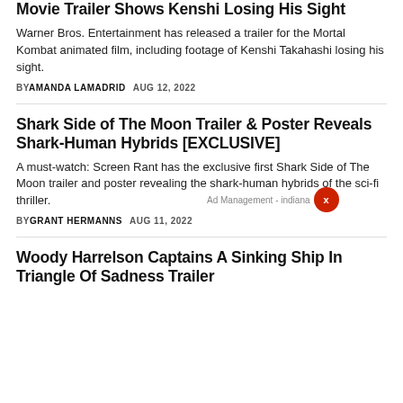Movie Trailer Shows Kenshi Losing His Sight
Warner Bros. Entertainment has released a trailer for the Mortal Kombat animated film, including footage of Kenshi Takahashi losing his sight.
BY AMANDA LAMADRID   AUG 12, 2022
Shark Side of The Moon Trailer & Poster Reveals Shark-Human Hybrids [EXCLUSIVE]
A must-watch: Screen Rant has the exclusive first Shark Side of The Moon trailer and poster revealing the shark-human hybrids of the sci-fi thriller.
BY GRANT HERMANNS   AUG 11, 2022
Woody Harrelson Captains A Sinking Ship In Triangle Of Sadness Trailer